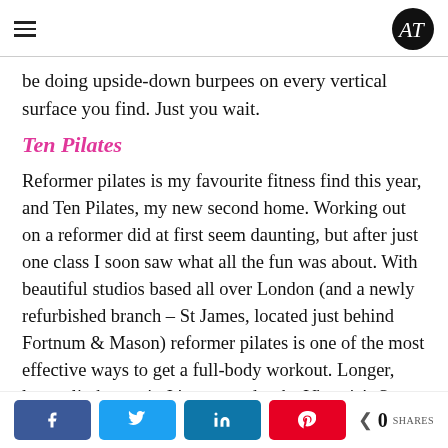AT logo and hamburger menu
be doing upside-down burpees on every vertical surface you find. Just you wait.
Ten Pilates
Reformer pilates is my favourite fitness find this year, and Ten Pilates, my new second home. Working out on a reformer did at first seem daunting, but after just one class I soon saw what all the fun was about. With beautiful studios based all over London (and a newly refurbished branch – St James, located just behind Fortnum & Mason) reformer pilates is one of the most effective ways to get a full-body workout. Longer, leaner limbs await. It's no wonder the Victoria's Secret girls across the pond swear by the reformer, we're looking at
Social share buttons: Facebook, Twitter, LinkedIn, Pinterest. 0 SHARES